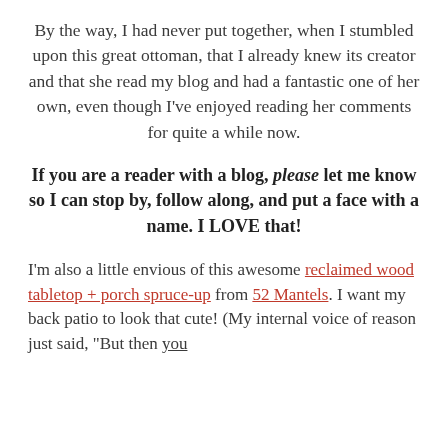By the way, I had never put together, when I stumbled upon this great ottoman, that I already knew its creator and that she read my blog and had a fantastic one of her own, even though I've enjoyed reading her comments for quite a while now.
If you are a reader with a blog, please let me know so I can stop by, follow along, and put a face with a name. I LOVE that!
I'm also a little envious of this awesome reclaimed wood tabletop + porch spruce-up from 52 Mantels. I want my back patio to look that cute! (My internal voice of reason just said, "But then you